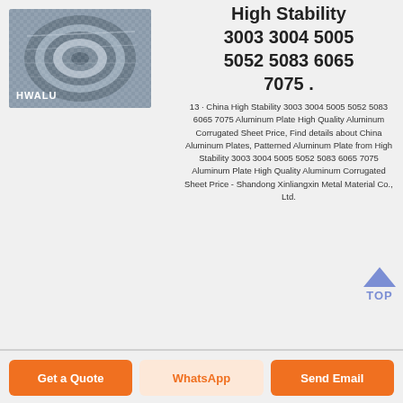[Figure (photo): HWALU branded aluminum coil roll product photo with metallic silver finish]
High Stability 3003 3004 5005 5052 5083 6065 7075 .
13 · China High Stability 3003 3004 5005 5052 5083 6065 7075 Aluminum Plate High Quality Aluminum Corrugated Sheet Price, Find details about China Aluminum Plates, Patterned Aluminum Plate from High Stability 3003 3004 5005 5052 5083 6065 7075 Aluminum Plate High Quality Aluminum Corrugated Sheet Price - Shandong Xinliangxin Metal Material Co., Ltd.
Get a Quote | WhatsApp | Send Email